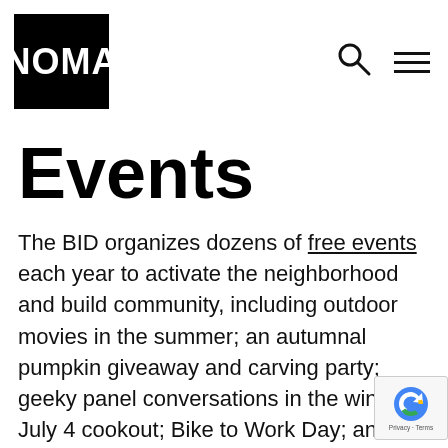[Figure (logo): NOMA logo — white text on black square background]
Events
The BID organizes dozens of free events each year to activate the neighborhood and build community, including outdoor movies in the summer; an autumnal pumpkin giveaway and carving party; geeky panel conversations in the winter; a July 4 cookout; Bike to Work Day; and much more. We also maintain an online calendar of NoMa community events to keep people informed about what else is going on in the